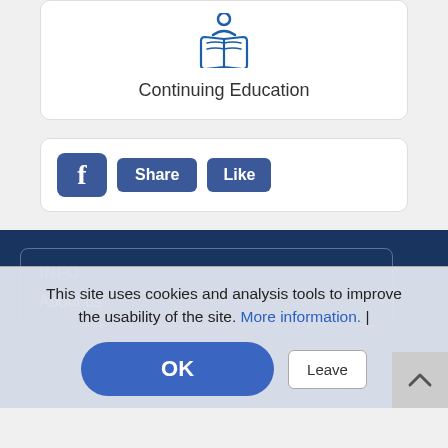[Figure (illustration): Open book icon in blue, representing Continuing Education]
Continuing Education
[Figure (screenshot): Facebook Share and Like buttons in blue]
INFO
About us
This site uses cookies and analysis tools to improve the usability of the site. More information. |
OK
Leave